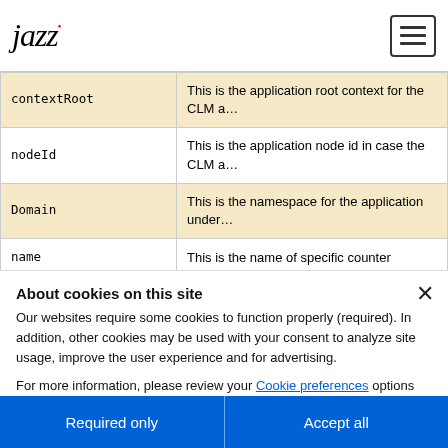Jazz logo and navigation menu
| Parameter | Description |
| --- | --- |
| contextRoot | This is the application root context for the CLM a... |
| nodeId | This is the application node id in case the CLM a... |
| Domain | This is the namespace for the application under... |
| name | This is the name of specific counter |
| group | This is the group that the counter belongs to |
| facet | This represents a particular aspect of this counte... |
About cookies on this site
Our websites require some cookies to function properly (required). In addition, other cookies may be used with your consent to analyze site usage, improve the user experience and for advertising.
For more information, please review your Cookie preferences options and IBM's privacy statement.